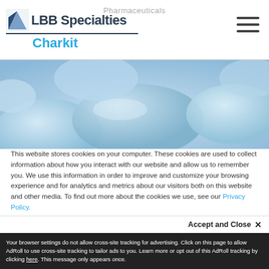Pharmaceuticals
[Figure (logo): LBB Specialties / Charkit logo with blue triangle icon]
[Figure (photo): Close-up photo of blue pharmaceutical tablets/pills]
This website stores cookies on your computer. These cookies are used to collect information about how you interact with our website and allow us to remember you. We use this information in order to improve and customize your browsing experience and for analytics and metrics about our visitors both on this website and other media. To find out more about the cookies we use, see our Privacy Policy.
If you decline, your information won't be tracked when you visit this website. A single cookie will be used in your browser to remember your preference not to be tracked.
Accept and Close ✕
Your browser settings do not allow cross-site tracking for advertising. Click on this page to allow AdRoll to use cross-site tracking to tailor ads to you. Learn more or opt out of this AdRoll tracking by clicking here. This message only appears once.